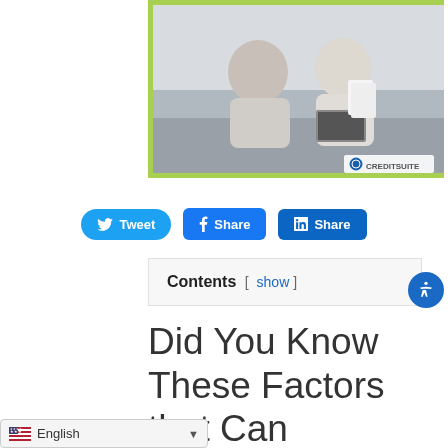[Figure (photo): Two people sitting on a couch, one holding papers and one with a laptop open, with a CreditSuite watermark in the bottom right corner]
Tweet  Share  Share
Contents [ show ]
Did You Know These Factors that Can Devastate Your Business Credit
English